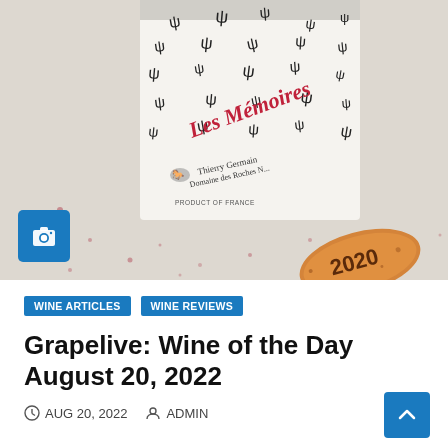[Figure (photo): Close-up photo of a wine bottle label reading 'Les Mémoires' by Thierry Germain, Domaine des Roches Neuves, Product of France, with small bird/Y-shaped decorative motifs all over the label, next to a wine cork stamped with '2020', set on a speckled countertop. A blue camera icon overlay appears in the bottom-left of the image.]
WINE ARTICLES
WINE REVIEWS
Grapelive: Wine of the Day August 20, 2022
AUG 20, 2022   ADMIN